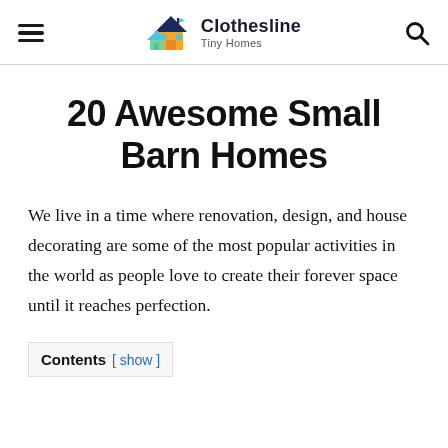Clothesline Tiny Homes
20 Awesome Small Barn Homes
We live in a time where renovation, design, and house decorating are some of the most popular activities in the world as people love to create their forever space until it reaches perfection.
Contents [ show ]